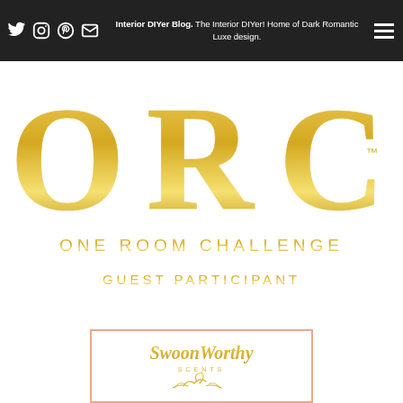Interior DIYer Blog. The Interior DIYer! Home of Dark Romantic Luxe design.
[Figure (logo): ORC One Room Challenge Guest Participant logo in gold lettering with large ORC letters and horizontal divider line]
[Figure (logo): SwoonWorthy Scents logo in a pink-bordered rectangular badge with gold script lettering and leaf illustration]